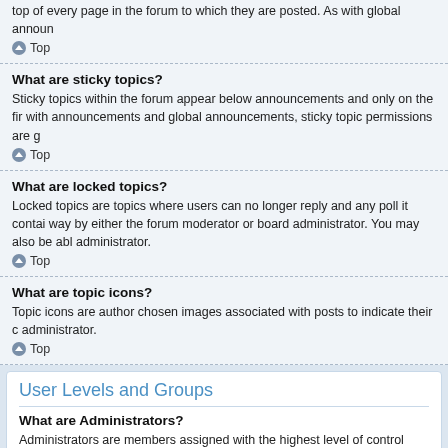top of every page in the forum to which they are posted. As with global announ
Top
What are sticky topics?
Sticky topics within the forum appear below announcements and only on the fir with announcements and global announcements, sticky topic permissions are g
Top
What are locked topics?
Locked topics are topics where users can no longer reply and any poll it contai way by either the forum moderator or board administrator. You may also be abl administrator.
Top
What are topic icons?
Topic icons are author chosen images associated with posts to indicate their c administrator.
Top
User Levels and Groups
What are Administrators?
Administrators are members assigned with the highest level of control over the permissions, banning users, creating usergroups or moderators, etc., depende administrators. They may also have full moderator capabilities in all forums d